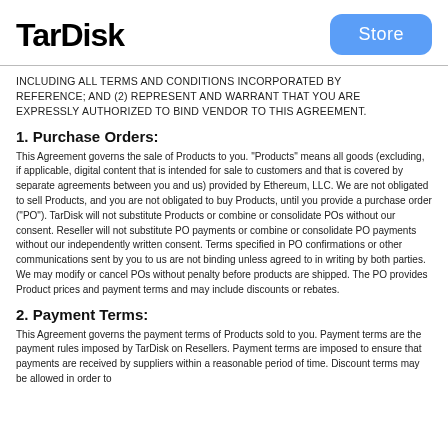TarDisk | Store
INCLUDING ALL TERMS AND CONDITIONS INCORPORATED BY REFERENCE; AND (2) REPRESENT AND WARRANT THAT YOU ARE EXPRESSLY AUTHORIZED TO BIND VENDOR TO THIS AGREEMENT.
1. Purchase Orders:
This Agreement governs the sale of Products to you. "Products" means all goods (excluding, if applicable, digital content that is intended for sale to customers and that is covered by separate agreements between you and us) provided by Ethereum, LLC. We are not obligated to sell Products, and you are not obligated to buy Products, until you provide a purchase order ("PO"). TarDisk will not substitute Products or combine or consolidate POs without our consent. Reseller will not substitute PO payments or combine or consolidate PO payments without our independently written consent. Terms specified in PO confirmations or other communications sent by you to us are not binding unless agreed to in writing by both parties. We may modify or cancel POs without penalty before products are shipped. The PO provides Product prices and payment terms and may include discounts or rebates.
2. Payment Terms:
This Agreement governs the payment terms of Products sold to you. Payment terms are the payment rules imposed by TarDisk on Resellers. Payment terms are imposed to ensure that payments are received by suppliers within a reasonable period of time. Discount terms may be allowed in order to